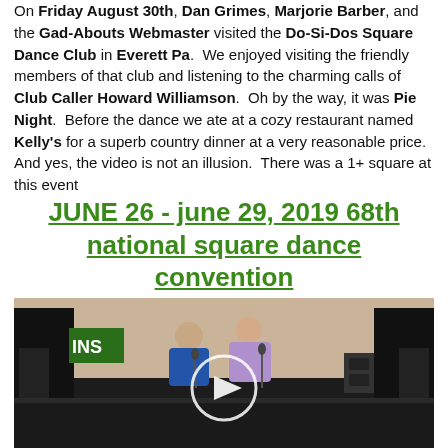On Friday August 30th, Dan Grimes, Marjorie Barber, and the Gad-Abouts Webmaster visited the Do-Si-Dos Square Dance Club in Everett Pa. We enjoyed visiting the friendly members of that club and listening to the charming calls of Club Caller Howard Williamson. Oh by the way, it was Pie Night. Before the dance we ate at a cozy restaurant named Kelly's for a superb country dinner at a very reasonable price. And yes, the video is not an illusion. There was a 1+ square at this event
JUNE 26 - june 29, 2019 68th national square dance convention
[Figure (photo): Video thumbnail showing two men on a stage in a large convention hall. One man holds a microphone. A circular play button overlay is centered on the image. Equipment and speakers visible in background.]